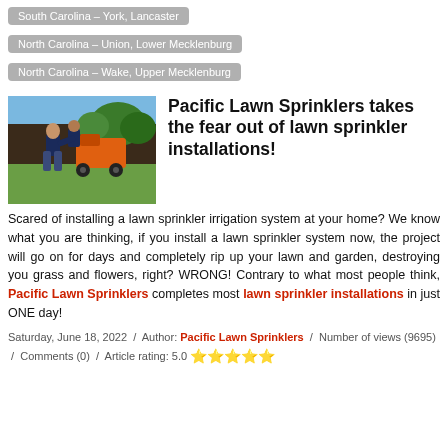South Carolina – York, Lancaster
North Carolina – Union, Lower Mecklenburg
North Carolina – Wake, Upper Mecklenburg
[Figure (photo): Two workers in dark shirts operating orange machinery outdoors on grass, with trees in background]
Pacific Lawn Sprinklers takes the fear out of lawn sprinkler installations!
Scared of installing a lawn sprinkler irrigation system at your home? We know what you are thinking, if you install a lawn sprinkler system now, the project will go on for days and completely rip up your lawn and garden, destroying you grass and flowers, right? WRONG! Contrary to what most people think, Pacific Lawn Sprinklers completes most lawn sprinkler installations in just ONE day!
Saturday, June 18, 2022 / Author: Pacific Lawn Sprinklers / Number of views (9695) / Comments (0) / Article rating: 5.0 ★★★★★